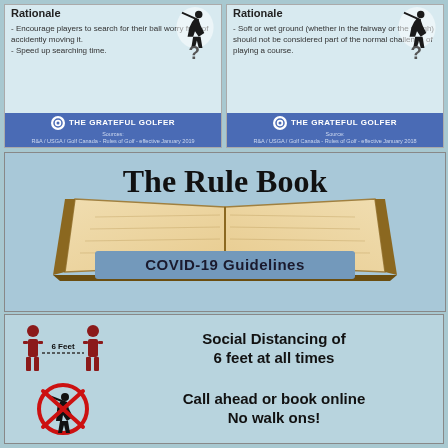Rationale
- Encourage players to search for their ball worry free of accidently moving it.
- Speed up searching time.
THE GRATEFUL GOLFER
Sources: R&A / USGA / Golf Canada - Rules of Golf - effective January 2019
Rationale
- Soft or wet ground (whether in the fairway or the rough) should not be considered part of the normal challenge of playing a course.
THE GRATEFUL GOLFER
Source: R&A / USGA / Golf Canada - Rules of Golf - effective January 2018
The Rule Book
COVID-19 Guidelines
Social Distancing of 6 feet at all times
Call ahead or book online No walk ons!